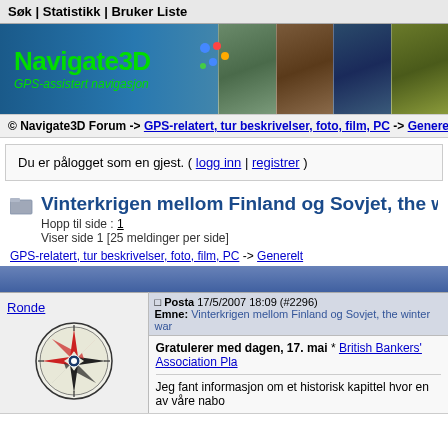Søk | Statistikk | Bruker Liste
[Figure (logo): Navigate3D banner logo with GPS-assistert navigasjon subtitle and outdoor photos]
© Navigate3D Forum -> GPS-relatert, tur beskrivelser, foto, film, PC -> Generelt -> Vis Trå
Du er pålogget som en gjest. ( logg inn | registrer )
Vinterkrigen mellom Finland og Sovjet, the wint
Hopp til side : 1
Viser side 1 [25 meldinger per side]
GPS-relatert, tur beskrivelser, foto, film, PC -> Generelt
| User | Post |
| --- | --- |
| Ronde | Posta 17/5/2007 18:09 (#2296)
Emne: Vinterkrigen mellom Finland og Sovjet, the winter war
Gratulerer med dagen, 17. mai * British Bankers' Association Pla
Jeg fant informasjon om et historisk kapittel hvor en av våre nabo |